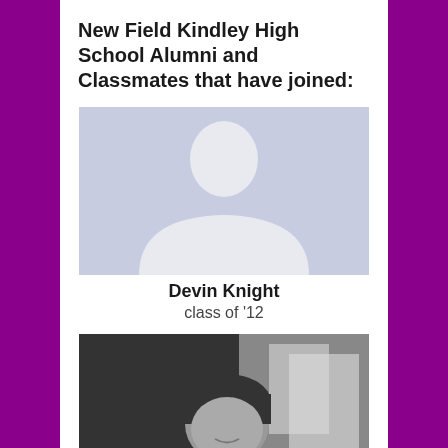New Field Kindley High School Alumni and Classmates that have joined:
[Figure (photo): Default profile placeholder silhouette for Devin Knight]
Devin Knight
class of '12
[Figure (photo): Black and white photo of Cheryl Richards, a woman looking at camera]
Cheryl Richards
class of '74
[Figure (photo): Default profile placeholder silhouette for Greg Nelsen]
Greg Nelsen